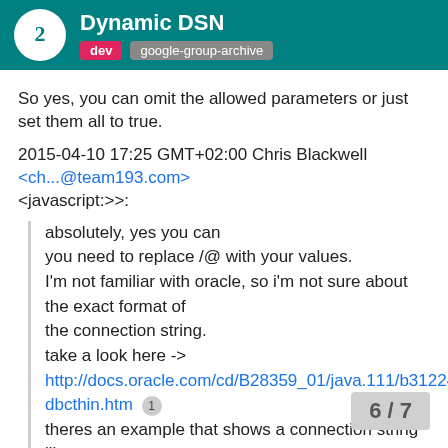Dynamic DSN | dev | google-group-archive
So yes, you can omit the allowed parameters or just set them all to true.
2015-04-10 17:25 GMT+02:00 Chris Blackwell <ch...@team193.com> <javascript:>>:
absolutely, yes you can
you need to replace /@ with your values.
I'm not familiar with oracle, so i'm not sure about the exact format of
the connection string.
take a look here ->
http://docs.oracle.com/cd/B28359_01/java.111/b31224/jdbcthin.htm
theres an example that shows a connection string like "jdbc:oracle:thin:@prodHost:1521:ORCL";
On 10 April 2015 at 16:19, Sid Wing <javascript:>: wrote:
6 / 7